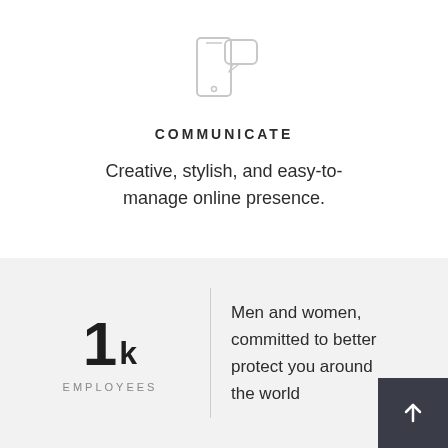[Figure (illustration): Phone and chat bubble icon in light gray outline style]
COMMUNICATE
Creative, stylish, and easy-to-manage online presence.
1k EMPLOYEES
Men and women, committed to better protect you around the world